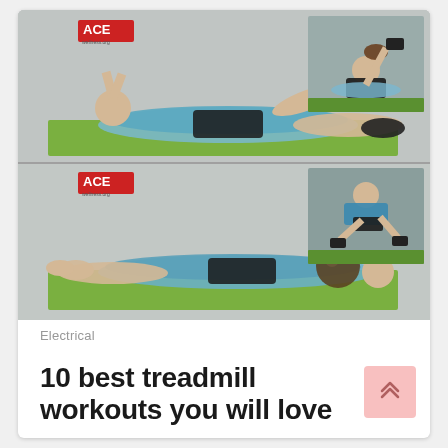[Figure (photo): Two composite exercise photos showing a man performing medicine ball ab exercises on a green mat in a gym. Top photo: man doing a crunch/sit-up with legs raised and a smaller inset image of the same exercise. Bottom photo: man lying flat holding a medicine ball with legs raised, with a smaller inset image. ACE logo visible in both photos.]
Electrical
10 best treadmill workouts you will love